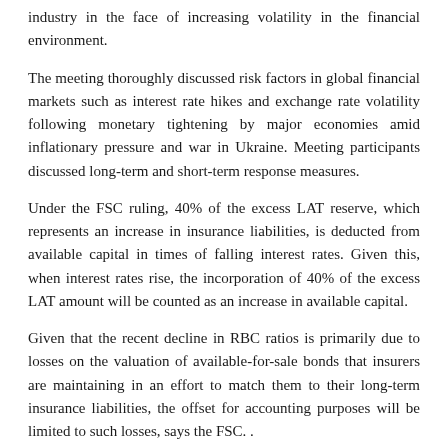industry in the face of increasing volatility in the financial environment.
The meeting thoroughly discussed risk factors in global financial markets such as interest rate hikes and exchange rate volatility following monetary tightening by major economies amid inflationary pressure and war in Ukraine. Meeting participants discussed long-term and short-term response measures.
Under the FSC ruling, 40% of the excess LAT reserve, which represents an increase in insurance liabilities, is deducted from available capital in times of falling interest rates. Given this, when interest rates rise, the incorporation of 40% of the excess LAT amount will be counted as an increase in available capital.
Given that the recent decline in RBC ratios is primarily due to losses on the valuation of available-for-sale bonds that insurers are maintaining in an effort to match them to their long-term insurance liabilities, the offset for accounting purposes will be limited to such losses, says the FSC. .